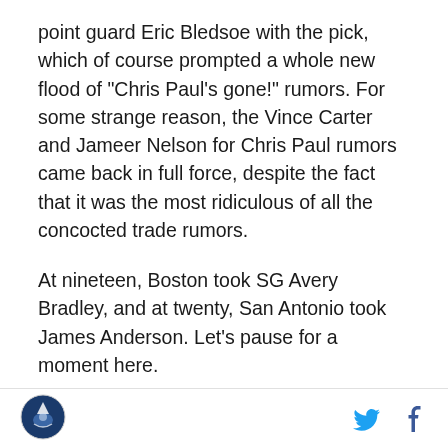point guard Eric Bledsoe with the pick, which of course prompted a whole new flood of "Chris Paul's gone!" rumors. For some strange reason, the Vince Carter and Jameer Nelson for Chris Paul rumors came back in full force, despite the fact that it was the most ridiculous of all the concocted trade rumors.
At nineteen, Boston took SG Avery Bradley, and at twenty, San Antonio took James Anderson. Let's pause for a moment here.
At this point, New Orleans had traded a #11 pick and Mo-Pete's contract for a #21 and #26. Peterson had an expiring 6 million dollar contract in 2010-2011. The immediate tendency is to think that an expiring deal as
[Figure (logo): Sports website logo — circular emblem with blue/dark design]